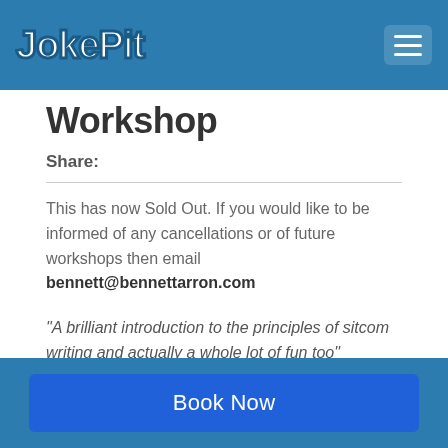JokePit
Workshop
Share:
This has now Sold Out. If you would like to be informed of any cancellations or of future workshops then email bennett@bennettarron.com
“A brilliant introduction to the principles of sitcom writing and actually a whole lot of fun too”
Iain Coyle, Commissioning Editor at DAVE
Book Now